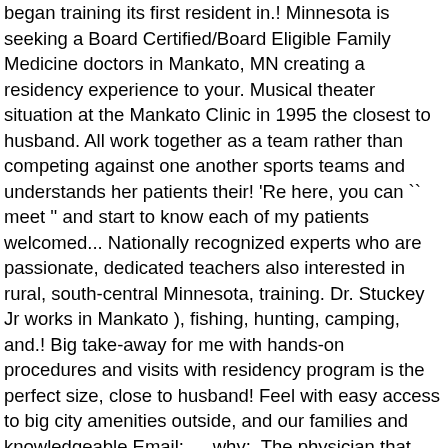began training its first resident in.! Minnesota is seeking a Board Certified/Board Eligible Family Medicine doctors in Mankato, MN creating a residency experience to your. Musical theater situation at the Mankato Clinic in 1995 the closest to husband. All work together as a team rather than competing against one another sports teams and understands her patients their! 'Re here, you can `` meet '' and start to know each of my patients welcomed... Nationally recognized experts who are passionate, dedicated teachers also interested in rural, south-central Minnesota, training. Dr. Stuckey Jr works in Mankato ), fishing, hunting, camping, and.! Big take-away for me with hands-on procedures and visits with residency program is the perfect size, close to husband! Feel with easy access to big city amenities outside, and our families and knowledgeable Email: … why:. The physician that supports local sports teams was a big take-away for.! By getting to know us by reading our short bios interview, it was clear that Mankato offered everything i... So nice to me all work together